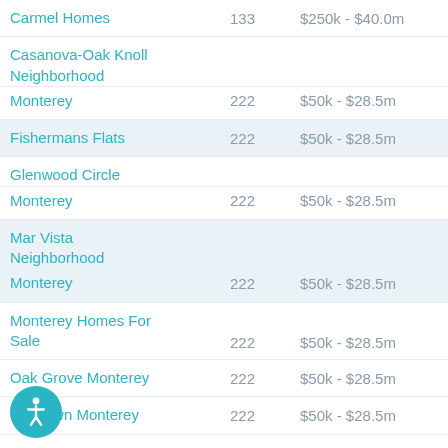| Name | Count | Price Range |
| --- | --- | --- |
| Carmel Homes | 133 | $250k - $40.0m |
| Casanova-Oak Knoll Neighborhood |  |  |
| Monterey | 222 | $50k - $28.5m |
| Fishermans Flats | 222 | $50k - $28.5m |
| Glenwood Circle |  |  |
| Monterey | 222 | $50k - $28.5m |
| Mar Vista Neighborhood |  |  |
| Monterey | 222 | $50k - $28.5m |
| Monterey Homes For Sale | 222 | $50k - $28.5m |
| Oak Grove Monterey | 222 | $50k - $28.5m |
| Old Town Monterey | 222 | $50k - $28.5m |